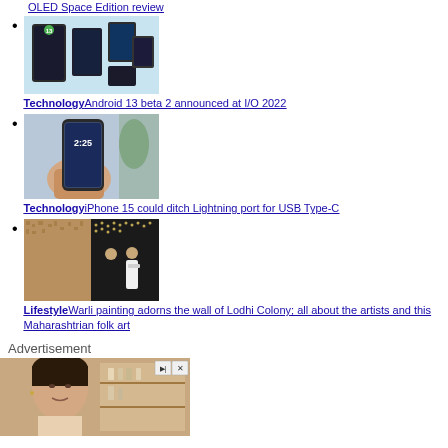OLED Space Edition review
[Figure (photo): Group of smartphones showing Android apps and interface screens on light blue background]
TechnologyAndroid 13 beta 2 announced at I/O 2022
[Figure (photo): Hand holding an iPhone with lock screen showing 2:25 time, with plant in background]
TechnologyiPhone 15 could ditch Lightning port for USB Type-C
[Figure (photo): Two men standing in front of a wall covered in small mosaic/Warli art dots]
LifestyleWarli painting adorns the wall of Lodhi Colony; all about the artists and this Maharashtrian folk art
Advertisement
[Figure (photo): Advertisement showing a woman with dark hair looking at camera, with shelves of products in background]